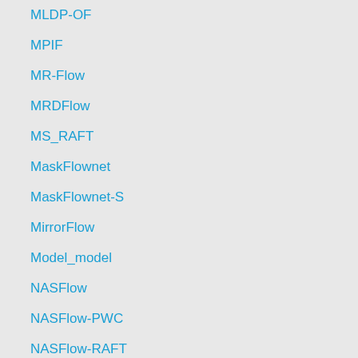MLDP-OF
MPIF
MR-Flow
MRDFlow
MS_RAFT
MaskFlownet
MaskFlownet-S
MirrorFlow
Model_model
NASFlow
NASFlow-PWC
NASFlow-RAFT
NLTGV-SC
NNF-Local
NccFlow
OAR-Flow
OAS-Net
OF-OEF
OF_OCC_LD